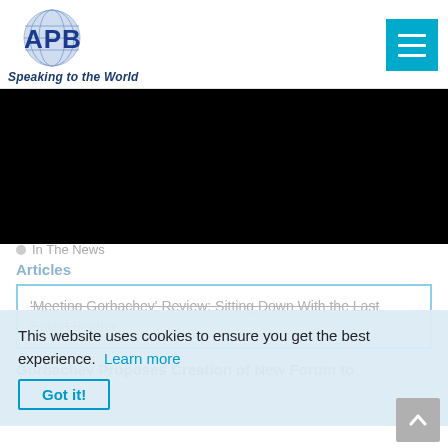[Figure (logo): APB logo with globe and text 'APB Speaking to the World']
[Figure (other): Hamburger menu button in cyan/teal color]
[Figure (other): Black banner/video area]
In The News
This website uses cookies to ensure you get the best experience. Learn more
Articles
'Meeting Gorbachev' Review: Sitting Down With the Last Soviet Leader
Gorbachev Proposes Creation of New Forum to
[Figure (other): Scroll to top button with upward arrow]